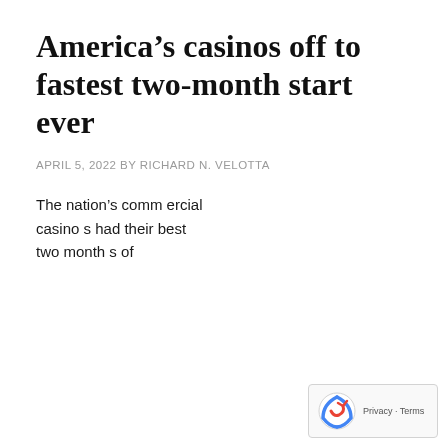America’s casinos off to fastest two-month start ever
APRIL 5, 2022 BY RICHARD N. VELOTTA
The nation’s commercial casinos had their best two months of